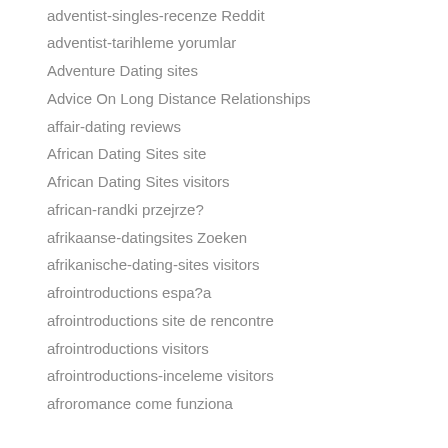adventist-singles-recenze Reddit
adventist-tarihleme yorumlar
Adventure Dating sites
Advice On Long Distance Relationships
affair-dating reviews
African Dating Sites site
African Dating Sites visitors
african-randki przejrze?
afrikaanse-datingsites Zoeken
afrikanische-dating-sites visitors
afrointroductions espa?a
afrointroductions site de rencontre
afrointroductions visitors
afrointroductions-inceleme visitors
afroromance come funziona